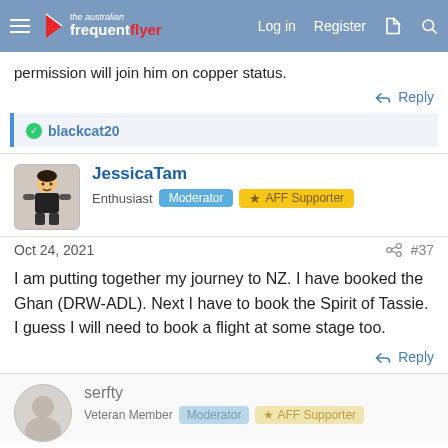the australian frequent flyer — Log in  Register
permission will join him on copper status.
Reply
blackcat20
JessicaTam
Enthusiast  Moderator  AFF Supporter
Oct 24, 2021  #37
I am putting together my journey to NZ. I have booked the Ghan (DRW-ADL). Next I have to book the Spirit of Tassie. I guess I will need to book a flight at some stage too.
Reply
serfty
Veteran Member  Moderator  AFF Supporter